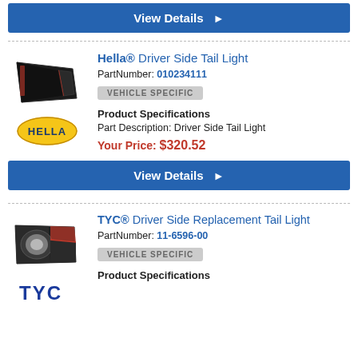[Figure (other): Blue 'View Details' button with right arrow]
[Figure (other): Hella Driver Side Tail Light product image (dark angular tail light)]
Hella® Driver Side Tail Light
PartNumber: 010234111
VEHICLE SPECIFIC
[Figure (logo): Hella brand logo - yellow oval with HELLA text]
Product Specifications
Part Description: Driver Side Tail Light
Your Price: $320.52
[Figure (other): Blue 'View Details' button with right arrow]
[Figure (other): TYC Driver Side Replacement Tail Light product image]
TYC® Driver Side Replacement Tail Light
PartNumber: 11-6596-00
VEHICLE SPECIFIC
[Figure (logo): TYC brand logo - blue TYC letters]
Product Specifications